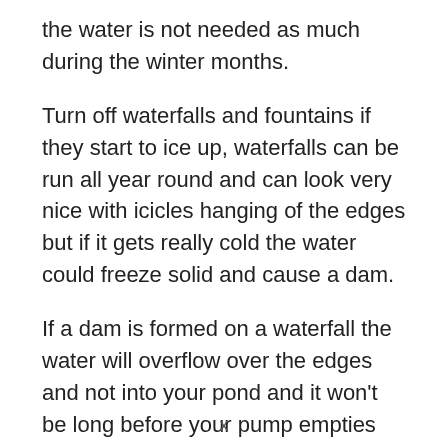the water is not needed as much during the winter months.
Turn off waterfalls and fountains if they start to ice up, waterfalls can be run all year round and can look very nice with icicles hanging of the edges but if it gets really cold the water could freeze solid and cause a dam.
If a dam is formed on a waterfall the water will overflow over the edges and not into your pond and it won’t be long before your pump empties your pond.
x